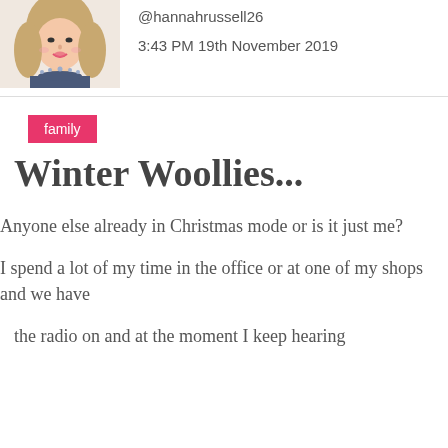[Figure (photo): Profile photo of a smiling young woman with long wavy hair, wearing a beaded necklace.]
@hannahrussell26
3:43 PM 19th November 2019
family
Winter Woollies...
Anyone else already in Christmas mode or is it just me?
I spend a lot of my time in the office or at one of my shops and we have the radio on and at the moment I keep hearing